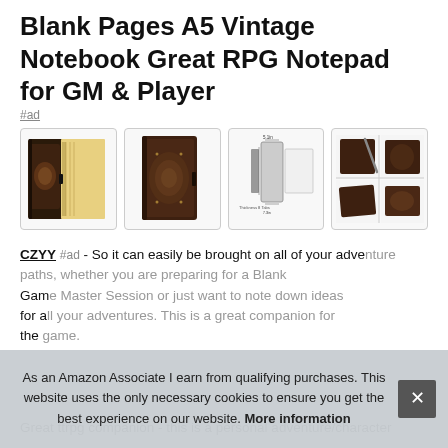Blank Pages A5 Vintage Notebook Great RPG Notepad for GM & Player
#ad
[Figure (photo): Four product photos of a vintage A5 notebook with ornate dark brown cover: open showing yellow pages, front cover, dimension diagram, and multi-angle collage.]
CZYY #ad - So it can easily be brought on all of your adve... Blank Game... for a... the...
As an Amazon Associate I earn from qualifying purchases. This website uses the only necessary cookies to ensure you get the best experience on our website. More information
Great ttrpg companion - this is a personal adventure/character